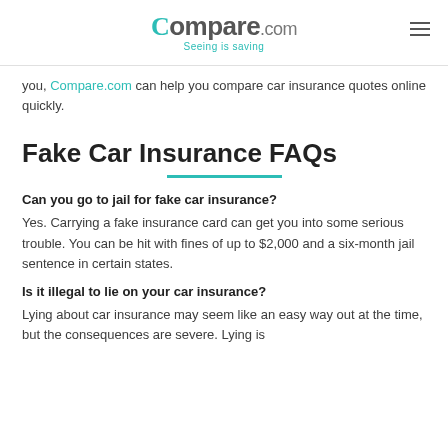Compare.com — Seeing is saving
you, Compare.com can help you compare car insurance quotes online quickly.
Fake Car Insurance FAQs
Can you go to jail for fake car insurance?
Yes. Carrying a fake insurance card can get you into some serious trouble. You can be hit with fines of up to $2,000 and a six-month jail sentence in certain states.
Is it illegal to lie on your car insurance?
Lying about car insurance may seem like an easy way out at the time, but the consequences are severe. Lying is